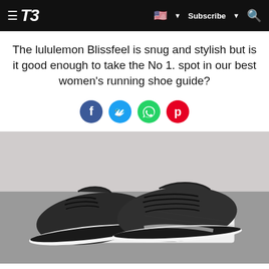T3 — Subscribe
The lululemon Blissfeel is snug and stylish but is it good enough to take the No 1. spot in our best women's running shoe guide?
[Figure (photo): A pair of black lululemon Blissfeel running shoes placed on top of a white shoe box on a grey surface]
[Figure (infographic): Social sharing icons: Facebook, Twitter, WhatsApp, Pinterest]